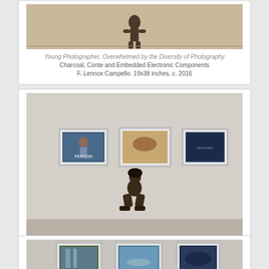[Figure (photo): Artwork photo showing a figure in a gallery space - cropped at top, partially visible]
Young Photographer, Overwhelmed by the Diversity of Photography
Charcoal, Conte and Embedded Electronic Components
F. Lennox Campello. 19x38 inches, c. 2016
[Figure (photo): Gallery installation photo showing a kneeling figure before three framed screens/monitors mounted on a gallery wall displaying various images]
Young Photographer, Overwhelmed by the Diversity of Photography
Charcoal, Conte and Embedded Electronic Components
F. Lennox Campello. 19x38 inches, c. 2016
[Figure (photo): Partially visible artwork photo at bottom showing three framed screens/monitors mounted on wall with various landscape images]